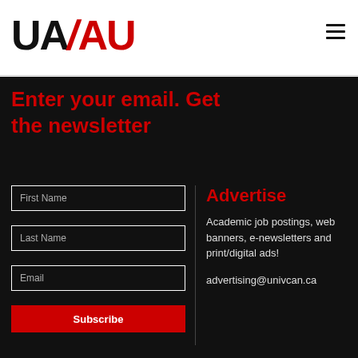[Figure (logo): UA AU logo — UA in black, AU in red with slash divider]
Enter your email. Get the newsletter
First Name
Last Name
Email
Subscribe
Advertise
Academic job postings, web banners, e-newsletters and print/digital ads!
advertising@univcan.ca